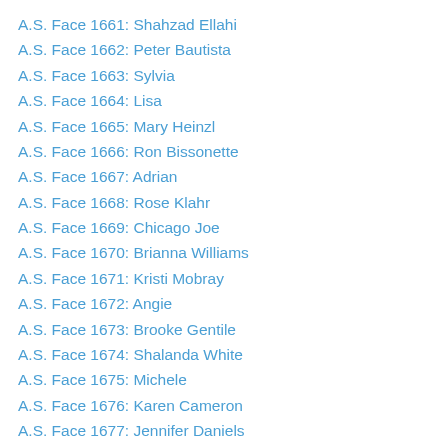A.S. Face 1661: Shahzad Ellahi
A.S. Face 1662: Peter Bautista
A.S. Face 1663: Sylvia
A.S. Face 1664: Lisa
A.S. Face 1665: Mary Heinzl
A.S. Face 1666: Ron Bissonette
A.S. Face 1667: Adrian
A.S. Face 1668: Rose Klahr
A.S. Face 1669: Chicago Joe
A.S. Face 1670: Brianna Williams
A.S. Face 1671: Kristi Mobray
A.S. Face 1672: Angie
A.S. Face 1673: Brooke Gentile
A.S. Face 1674: Shalanda White
A.S. Face 1675: Michele
A.S. Face 1676: Karen Cameron
A.S. Face 1677: Jennifer Daniels
A.S. Face 1678: Karissa Rhyne
A.S. Face 1679: Laura Tenneson
A.S. Face 1680: Robin Peterson